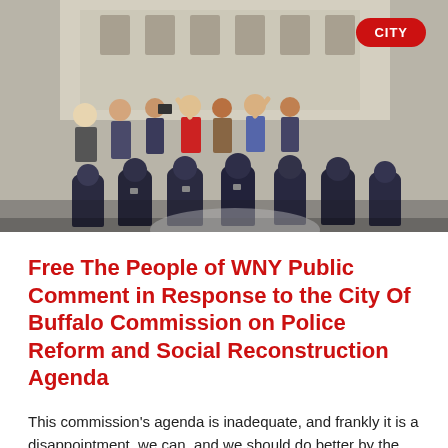[Figure (photo): Crowd scene showing police officers in riot gear facing protesters and civilians on steps of a building. People wearing masks visible on both sides. CITY badge label in top right corner.]
Free The People of WNY Public Comment in Response to the City Of Buffalo Commission on Police Reform and Social Reconstruction Agenda
This commission's agenda is inadequate, and frankly it is a disappointment, we can, and we should do better by the people of